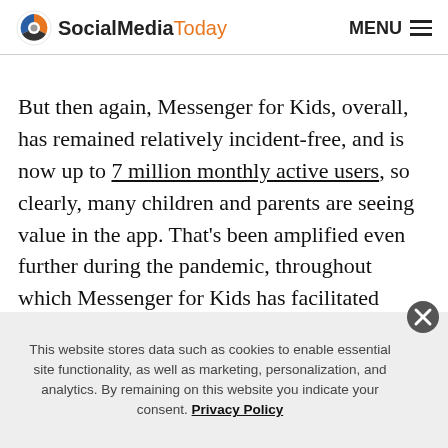SocialMediaToday  MENU
But then again, Messenger for Kids, overall, has remained relatively incident-free, and is now up to 7 million monthly active users, so clearly, many children and parents are seeing value in the app. That's been amplified even further during the pandemic, throughout which Messenger for Kids has facilitated connection while we've all remained physically separate.
More kids are using the app, and seeing benefit from
This website stores data such as cookies to enable essential site functionality, as well as marketing, personalization, and analytics. By remaining on this website you indicate your consent. Privacy Policy